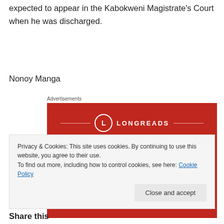expected to appear in the Kabokweni Magistrate's Court when he was discharged.
Nonoy Manga
[Figure (illustration): Longreads advertisement banner with red background. Shows the Longreads logo (circle with 'L') flanked by horizontal lines and the text 'LONGREADS'. Below in an outlined box: 'The best stories on the web – ours, and everyone else's.']
Privacy & Cookies: This site uses cookies. By continuing to use this website, you agree to their use.
To find out more, including how to control cookies, see here: Cookie Policy
Share this: